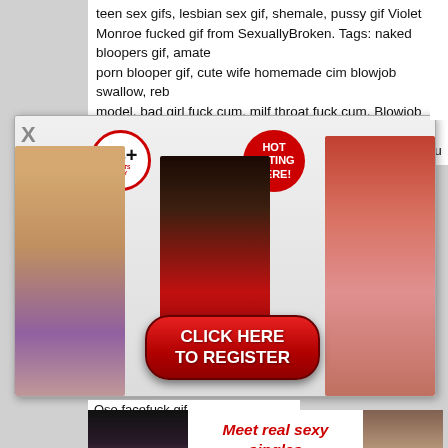teen sex gifs, lesbian sex gif, shemale, pussy gif Violet Monroe fucked gif from SexuallyBroken. Tags: naked bloopers gif, amateur porn blooper gif, cute wife homemade cim blowjob swallow, rebel model, bad girl fuck cum, milf throat fuck cum, Blowjob Face Fu...
[Figure (other): Adult dating site popup advertisement with 18+ badge, 'HOT DATING HERE!' badge, three women in lingerie/swimwear, and a red 'CLICK HERE TO REGISTER' button]
Oso facefuck gif.
[Figure (other): Adult dating site banner advertisement showing two women and text 'Meet real sexy singles in your area today and have sex tonight!' with a red JOIN button]